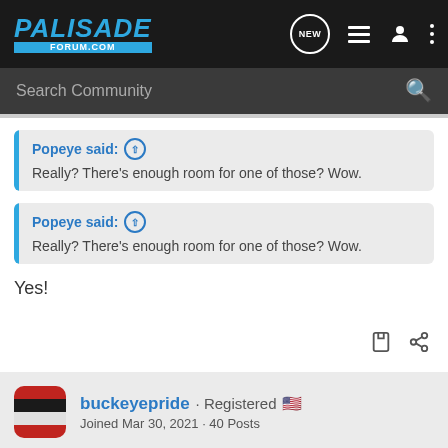PALISADE FORUM.COM
Search Community
Popeye said: ↑
Really? There's enough room for one of those? Wow.
Popeye said: ↑
Really? There's enough room for one of those? Wow.
Yes!
buckeyepride · Registered
Joined Mar 30, 2021 · 40 Posts